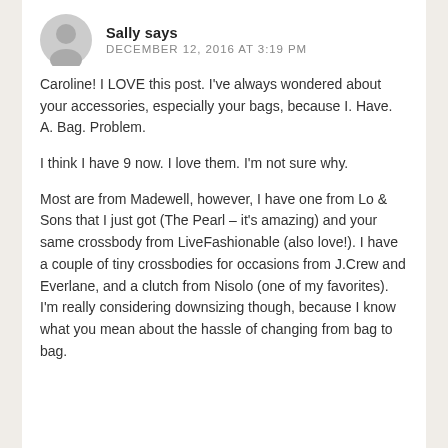Sally says DECEMBER 12, 2016 AT 3:19 PM
Caroline! I LOVE this post. I've always wondered about your accessories, especially your bags, because I. Have. A. Bag. Problem.
I think I have 9 now. I love them. I'm not sure why.
Most are from Madewell, however, I have one from Lo & Sons that I just got (The Pearl – it's amazing) and your same crossbody from LiveFashionable (also love!). I have a couple of tiny crossbodies for occasions from J.Crew and Everlane, and a clutch from Nisolo (one of my favorites). I'm really considering downsizing though, because I know what you mean about the hassle of changing from bag to bag.